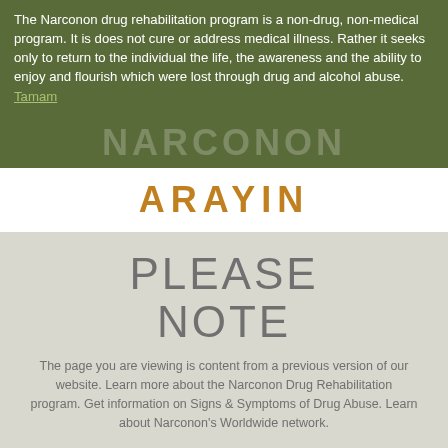The Narconon drug rehabilitation program is a non-drug, non-medical program. It is does not cure or address medical illness. Rather it seeks only to return to the individual the life, the awareness and the ability to enjoy and flourish which were lost through drug and alcohol abuse.   Tamam
NARCONON
ARAYIN
PLEASE NOTE
The page you are viewing is content from a previous version of our website. Learn more about the Narconon Drug Rehabilitation program. Get information on Signs & Symptoms of Drug Abuse. Learn about Narconon's Worldwide network.